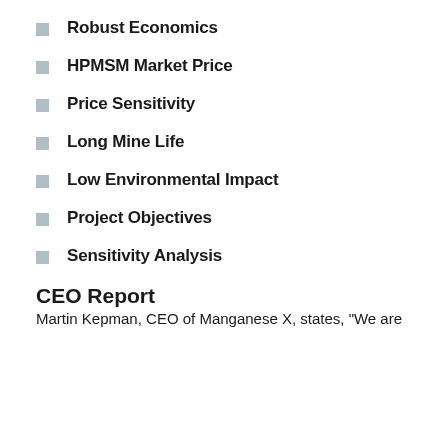Robust Economics
HPMSM Market Price
Price Sensitivity
Long Mine Life
Low Environmental Impact
Project Objectives
Sensitivity Analysis
CEO Report
Martin Kepman, CEO of Manganese X, states, "We are